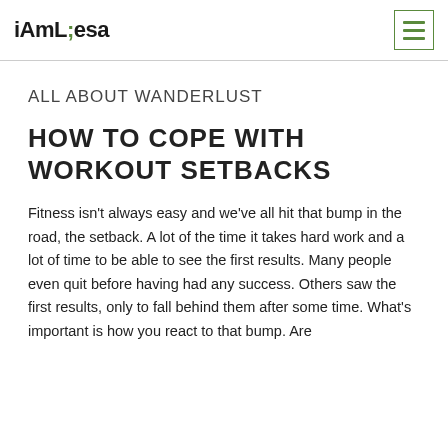iAmLiesa
ALL ABOUT WANDERLUST
HOW TO COPE WITH WORKOUT SETBACKS
Fitness isn't always easy and we've all hit that bump in the road, the setback. A lot of the time it takes hard work and a lot of time to be able to see the first results. Many people even quit before having had any success. Others saw the first results, only to fall behind them after some time. What's important is how you react to that bump. Are